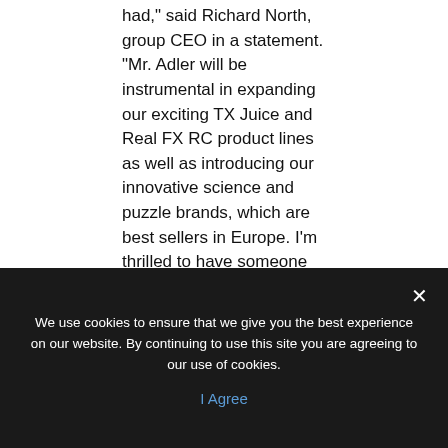had," said Richard North, group CEO in a statement. "Mr. Adler will be instrumental in expanding our exciting TX Juice and Real FX RC product lines as well as introducing our innovative science and puzzle brands, which are best sellers in Europe. I'm thrilled to have someone with Mr. Adler's experience joining our growing company. Frank's skill-set and leadership made Uncle Milton the leader of licensed brands in the science category and we are excited about matching those qualities to our innovative brands."
The Fred Rogers Company Appoints
We use cookies to ensure that we give you the best experience on our website. By continuing to use this site you are agreeing to our use of cookies.
I Agree